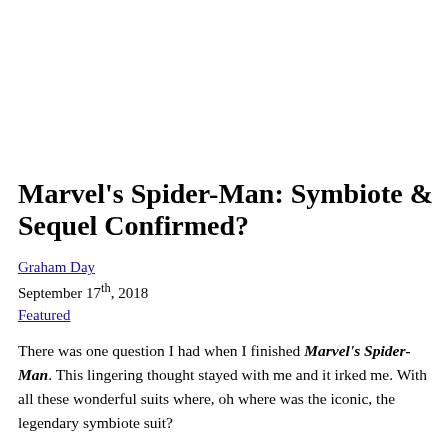Marvel's Spider-Man: Symbiote & Sequel Confirmed?
Graham Day
September 17th, 2018
Featured
There was one question I had when I finished Marvel's Spider-Man. This lingering thought stayed with me and it irked me. With all these wonderful suits where, oh where was the iconic, the legendary symbiote suit?
Well, it seems I was not the only person to ask this question. To ponder where the sexy suit was. Nope, when asked during an